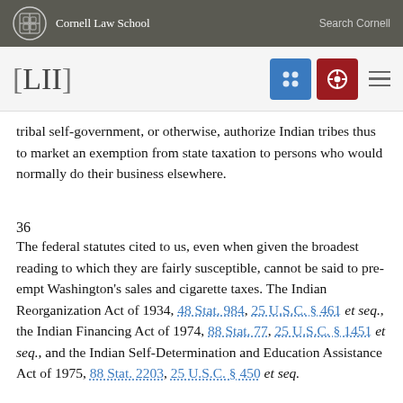Cornell Law School | Search Cornell
[Figure (logo): LII Legal Information Institute logo with Cornell Law School header]
tribal self-government, or otherwise, authorize Indian tribes thus to market an exemption from state taxation to persons who would normally do their business elsewhere.
36
The federal statutes cited to us, even when given the broadest reading to which they are fairly susceptible, cannot be said to pre-empt Washington's sales and cigarette taxes. The Indian Reorganization Act of 1934, 48 Stat. 984, 25 U.S.C. § 461 et seq., the Indian Financing Act of 1974, 88 Stat. 77, 25 U.S.C. § 1451 et seq., and the Indian Self-Determination and Education Assistance Act of 1975, 88 Stat. 2203, 25 U.S.C. § 450 et seq.